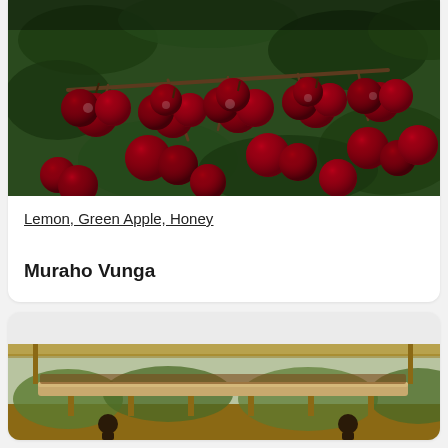[Figure (photo): Close-up photo of red coffee cherries on a branch with green foliage in the background]
Lemon, Green Apple, Honey
Muraho Vunga
[Figure (photo): Outdoor photo of a coffee processing facility with raised drying beds and workers]